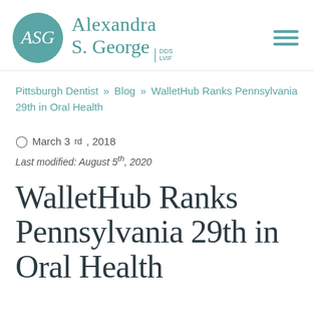[Figure (logo): Alexandra S. George DDS LVIF dental practice logo with teal circular emblem and stylized ASG lettering]
Pittsburgh Dentist » Blog » WalletHub Ranks Pennsylvania 29th in Oral Health
March 3rd, 2018
Last modified: August 5th, 2020
WalletHub Ranks Pennsylvania 29th in Oral Health